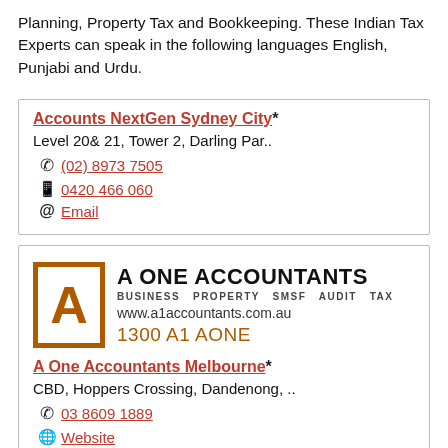Planning, Property Tax and Bookkeeping. These Indian Tax Experts can speak in the following languages English, Punjabi and Urdu.
Accounts NextGen Sydney City*
Level 20& 21, Tower 2, Darling Par..
(02) 8973 7505
0420 466 060
Email
[Figure (logo): A One Accountants logo with large orange letter A in an orange square border, company name and tagline]
A One Accountants Melbourne*
CBD, Hoppers Crossing, Dandenong, ..
03 8609 1889
Website